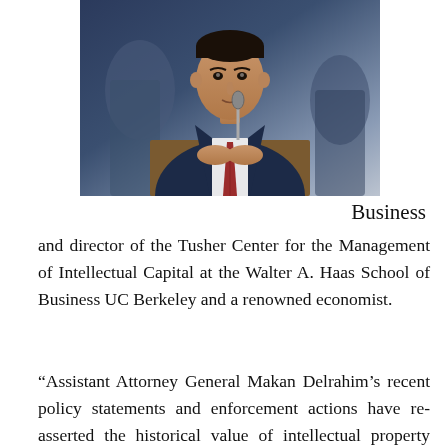[Figure (photo): Photo of a man in a dark navy suit with a red striped tie, seated at what appears to be a hearing or formal proceeding, with people visible in the background.]
Business and director of the Tusher Center for the Management of Intellectual Capital at the Walter A. Haas School of Business UC Berkeley and a renowned economist.
“Assistant Attorney General Makan Delrahim’s recent policy statements and enforcement actions have re-asserted the historical value of intellectual property rights,” say Rill and Teece.
“He has suggested that the value of these rights have been in some respects diminished by their misapplication